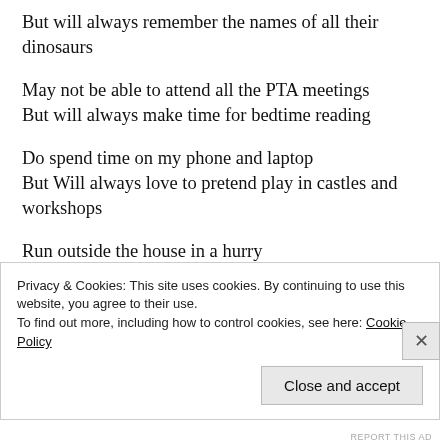But will always remember the names of all their dinosaurs
May not be able to attend all the PTA meetings
But will always make time for bedtime reading
Do spend time on my phone and laptop
But Will always love to pretend play in castles and workshops
Run outside the house in a hurry
But will never before a kiss, two or three
Privacy & Cookies: This site uses cookies. By continuing to use this website, you agree to their use.
To find out more, including how to control cookies, see here: Cookie Policy
REPORT THIS AD